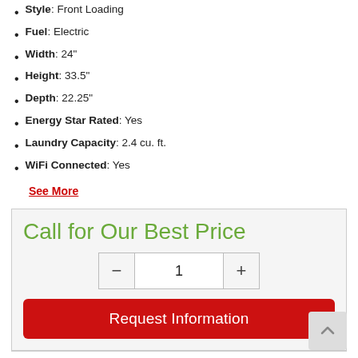Style: Front Loading
Fuel: Electric
Width: 24"
Height: 33.5"
Depth: 22.25"
Energy Star Rated: Yes
Laundry Capacity: 2.4 cu. ft.
WiFi Connected: Yes
See More
Call for Our Best Price
Request Information
Share This Item